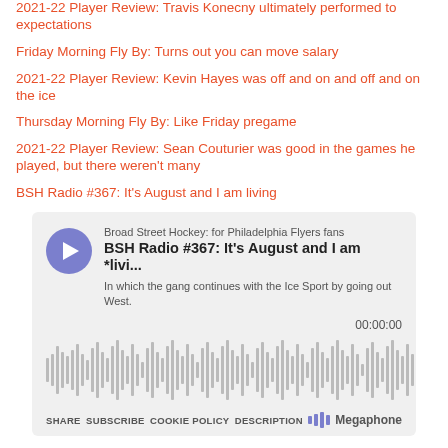2021-22 Player Review: Travis Konecny ultimately performed to expectations
Friday Morning Fly By: Turns out you can move salary
2021-22 Player Review: Kevin Hayes was off and on and off and on the ice
Thursday Morning Fly By: Like Friday pregame
2021-22 Player Review: Sean Couturier was good in the games he played, but there weren't many
BSH Radio #367: It's August and I am living
[Figure (screenshot): Embedded podcast player widget from Megaphone showing BSH Radio #367: It's August and I am *livi... episode from Broad Street Hockey: for Philadelphia Flyers fans, with a play button, waveform visualization, timestamp 00:00:00, and footer links: SHARE, SUBSCRIBE, COOKIE POLICY, DESCRIPTION, Megaphone logo. Description: In which the gang continues with the Ice Sport by going out West.]